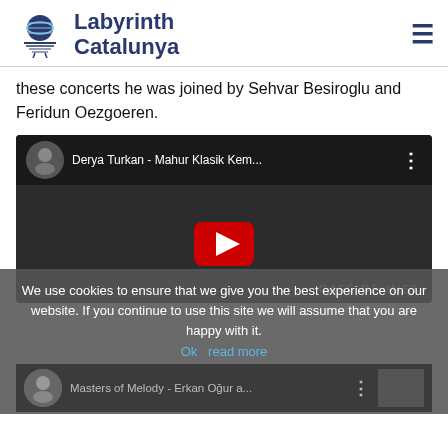Labyrinth Catalunya
these concerts he was joined by Sehvar Besiroglu and Feridun Oezgoeren.
[Figure (screenshot): YouTube video embed showing 'Derya Turkan - Mahur Klasik Kem...' with play button and CAFÉ DE MIST watermark on dark background]
We use cookies to ensure that we give you the best experience on our website. If you continue to use this site we will assume that you are happy with it.
Ok read more
[Figure (screenshot): YouTube video bar showing 'Masters of Melody - Erkan Oğur a...' with thumbnail]